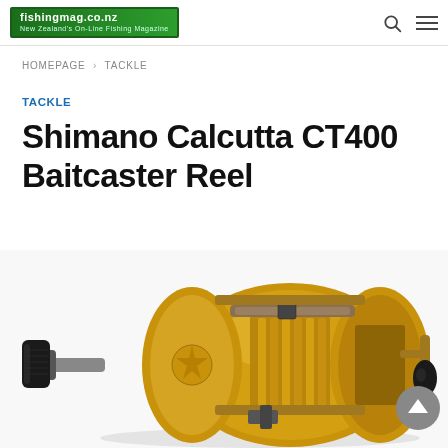fishingmag.co.nz — New Zealand's On-Line Fishing Magazine
HOMEPAGE › TACKLE
TACKLE
Shimano Calcutta CT400 Baitcaster Reel
[Figure (photo): Gold Shimano Calcutta CT400 baitcaster reel with black handle, showing the round golden body and internal spool mechanism, photographed on a white background]